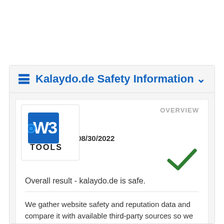Kalaydo.de Safety Information
[Figure (logo): W3Tools logo - blue square with white W3 text and gear icon, 'TOOLS' text below]
OVERVIEW
Last Updated: 08/30/2022
[Figure (other): Green checkmark indicating safe status]
Overall result - kalaydo.de is safe.
We gather website safety and reputation data and compare it with available third-party sources so we calculate own